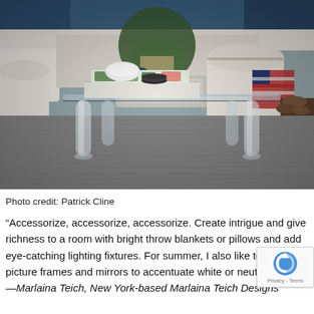[Figure (photo): Interior design photo showing a glass-top acrylic coffee table with clear legs on a grey textured rug. On the table are books, decorative objects, a white bowl, and a centerpiece with greenery. White upholstered armchairs and a sofa are visible in the background, along with an American flag throw blanket and firewood.]
Photo credit: Patrick Cline
“Accessorize, accessorize, accessorize. Create intrigue and give richness to a room with bright throw blankets or pillows and add eye-catching lighting fixtures. For summer, I also like to add picture frames and mirrors to accentuate white or neutral walls.” —Marlaina Teich, New York-based Marlaina Teich Designs